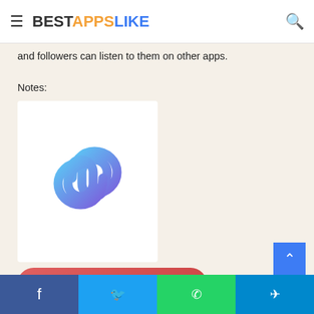BESTAPPSLIKE
and followers can listen to them on other apps.
Notes:
[Figure (logo): Cropped app logo with linked chain-like infinity symbol in blue/purple gradient]
Similarity Rate : 108 %  –
Similar Apps